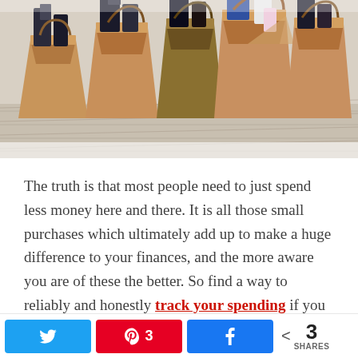[Figure (photo): Multiple brown paper shopping bags filled with various items including dark packaging and products, arranged on a light wooden surface, viewed from above at an angle.]
The truth is that most people need to just spend less money here and there. It is all those small purchases which ultimately add up to make a huge difference to your finances, and the more aware you are of these the better. So find a way to reliably and honestly track your spending if you are keen to keep your money on track as
Twitter | Pinterest 3 | Facebook | < 3 SHARES